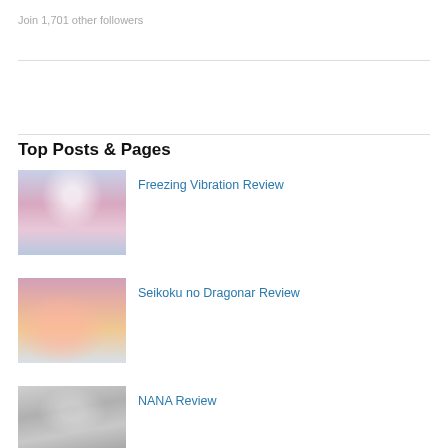Join 1,701 other followers
Top Posts & Pages
[Figure (photo): Anime illustration with a girl in pink/white dress, blue sky background (Freezing Vibration artwork)]
Freezing Vibration Review
[Figure (photo): Anime girl with pink hair and red outfit (Seikoku no Dragonar artwork)]
Seikoku no Dragonar Review
[Figure (photo): Black and white anime illustration of a girl with long hair (NANA artwork)]
NANA Review